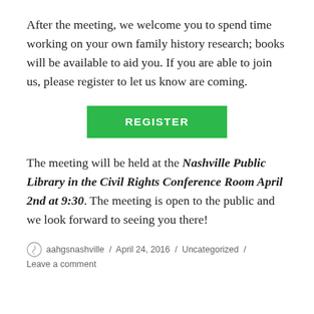After the meeting, we welcome you to spend time working on your own family history research; books will be available to aid you. If you are able to join us, please register to let us know are coming.
[Figure (other): Green REGISTER button]
The meeting will be held at the Nashville Public Library in the Civil Rights Conference Room April 2nd at 9:30. The meeting is open to the public and we look forward to seeing you there!
aahgsnashville / April 24, 2016 / Uncategorized / Leave a comment